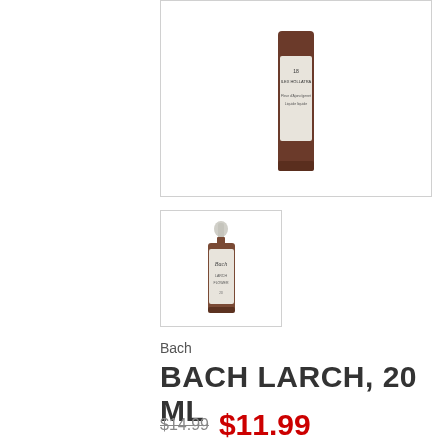[Figure (photo): Main product image of Bach Larch 20ml dropper bottle with white label, amber glass bottle, partially cropped at top]
[Figure (photo): Thumbnail image of Bach Larch 20ml dropper bottle showing full bottle with dropper cap and white label]
Bach
BACH LARCH, 20 ML
$14.99  $11.99